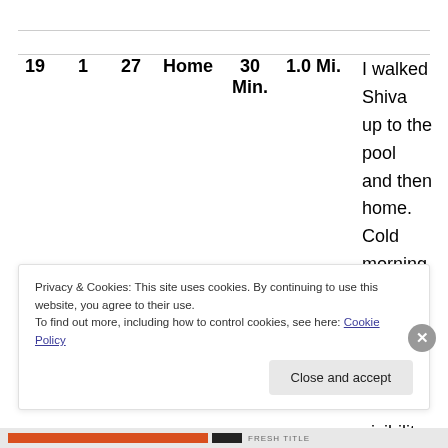|  |  |  |  |  |  | Notes |
| --- | --- | --- | --- | --- | --- | --- |
| 19 | 1 | 27 | Home | 30 Min. | 1.0 Mi. | I walked Shiva up to the pool and then home.  Cold morning with heavy ground fog.  Partial visibility for 50 yards.  It |
Privacy & Cookies: This site uses cookies. By continuing to use this website, you agree to their use.
To find out more, including how to control cookies, see here: Cookie Policy
Close and accept